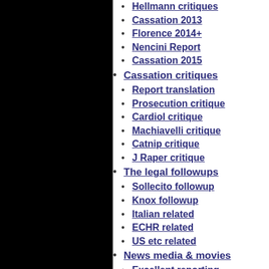Hellmann critiques
Cassation 2013
Florence 2014+
Nencini Report
Cassation 2015
Cassation critiques
Report translation
Prosecution critique
Cardiol critique
Machiavelli critique
Catnip critique
J Raper critique
The legal followups
Sollecito followup
Knox followup
Italian related
ECHR related
US etc related
News media & movies
Excellent reporting
Many hard questions
Media developments
Movies on case
The wider contexts